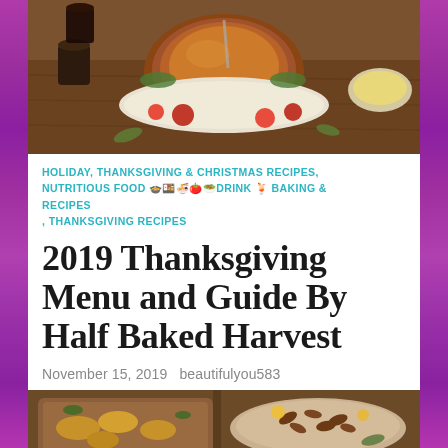[Figure (photo): Roasted Thanksgiving turkey on a platter surrounded by apples, herbs, and side dishes on a wooden table, viewed from above]
HOLIDAY, THANKSGIVING & CHRISTMAS RECIPES, NUTRITIOUS FOOD 🍲🍱🍜🍅🥗DRINK 🍹 BAKING & RECIPES , THANKSGIVING RECIPES
2019 Thanksgiving Menu and Guide By Half Baked Harvest
November 15, 2019   beautifulyou583
[Figure (photo): Two food dishes on wooden surface: left shows a baked croissant casserole dish, right shows a pecan-topped baked dish with flowers]